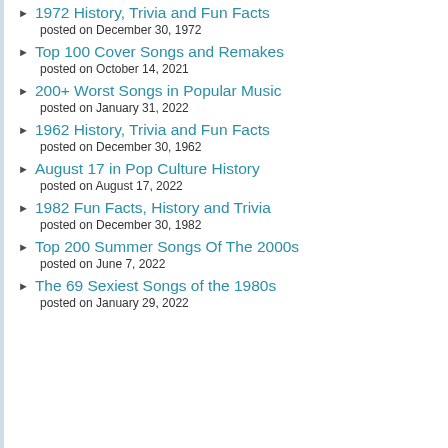1972 History, Trivia and Fun Facts
posted on December 30, 1972
Top 100 Cover Songs and Remakes
posted on October 14, 2021
200+ Worst Songs in Popular Music
posted on January 31, 2022
1962 History, Trivia and Fun Facts
posted on December 30, 1962
August 17 in Pop Culture History
posted on August 17, 2022
1982 Fun Facts, History and Trivia
posted on December 30, 1982
Top 200 Summer Songs Of The 2000s
posted on June 7, 2022
The 69 Sexiest Songs of the 1980s
posted on January 29, 2022